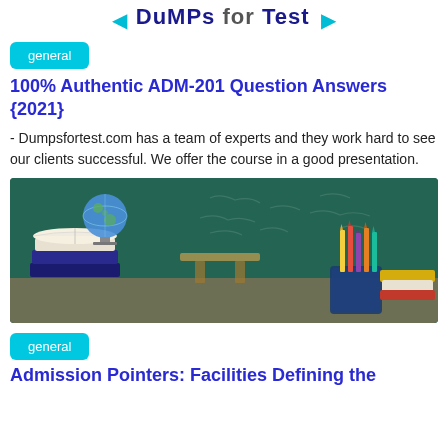DuMPs for Test
general
100% Authentic ADM-201 Question Answers {2021}
- Dumpsfortest.com has a team of experts and they work hard to see our clients successful. We offer the course in a good presentation.
[Figure (photo): Classroom setting with stacked books, open book, globe, pencil holder with colored pencils, and a chalkboard in the background]
general
Admission Pointers: Facilities Defining the